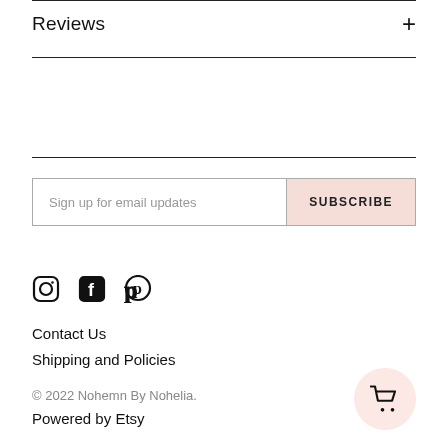Reviews
Sign up for email updates
SUBSCRIBE
[Figure (other): Social media icons: Instagram, Facebook, Pinterest]
Contact Us
Shipping and Policies
© 2022 Nohemn By Nohelia.
Powered by Etsy
[Figure (other): Shopping cart button, light pink circular background with cart icon]